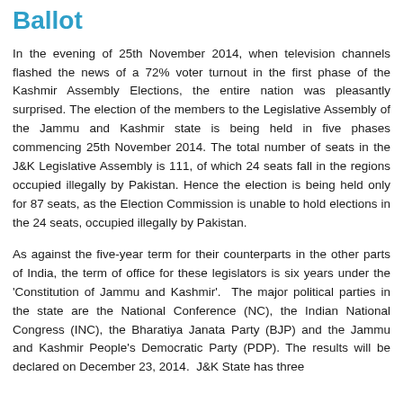Ballot
In the evening of 25th November 2014, when television channels flashed the news of a 72% voter turnout in the first phase of the Kashmir Assembly Elections, the entire nation was pleasantly surprised. The election of the members to the Legislative Assembly of the Jammu and Kashmir state is being held in five phases commencing 25th November 2014. The total number of seats in the J&K Legislative Assembly is 111, of which 24 seats fall in the regions occupied illegally by Pakistan. Hence the election is being held only for 87 seats, as the Election Commission is unable to hold elections in the 24 seats, occupied illegally by Pakistan.
As against the five-year term for their counterparts in the other parts of India, the term of office for these legislators is six years under the 'Constitution of Jammu and Kashmir'. The major political parties in the state are the National Conference (NC), the Indian National Congress (INC), the Bharatiya Janata Party (BJP) and the Jammu and Kashmir People's Democratic Party (PDP). The results will be declared on December 23, 2014. J&K State has three